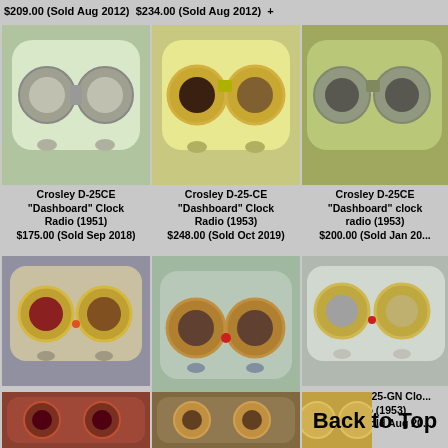$209.00 (Sold Aug 2012)  $234.00 (Sold Aug 2012)
[Figure (photo): Crosley D-25CE Dashboard Clock Radio (1951), cream/light green colored vintage clock radio]
Crosley D-25CE "Dashboard" Clock Radio (1951)
$175.00 (Sold Sep 2018)
[Figure (photo): Crosley D-25-CE Dashboard Clock Radio (1953), yellow vintage clock radio with gold dials]
Crosley D-25-CE "Dashboard" Clock Radio (1953)
$248.00 (Sold Oct 2019)
[Figure (photo): Crosley D-25CE Dashboard clock radio (1953), green colored vintage clock radio]
Crosley D-25CE "Dashboard" clock radio (1953)
$200.00 (Sold Jan 20...)
[Figure (photo): Crosley D-25GN Clock Radio, gold/cream vintage clock radio]
Crosley D-25GN Clock Radio
$165.00 (Sold Oct 2006)
[Figure (photo): Crosley D-25-GN Clock Radio (1953), light blue/green vintage clock radio]
Crosley D-25-GN Clock Radio (1953)
$219.00 (Sold Apr 2017)
[Figure (photo): Crosley D-25-GN Clock Radio (1953), silver/chrome vintage clock radio]
Crosley D-25-GN Clock Radio (1953)
$245.00 (Sold Aug 20...)
[Figure (photo): Red vintage Crosley clock radio, bottom row left]
[Figure (photo): Vintage Crosley clock radio, bottom row center]
[Figure (photo): Vintage Crosley clock radio, bottom row right, partially visible]
Back to Top